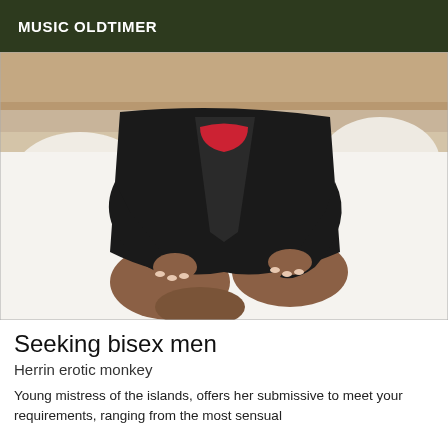MUSIC OLDTIMER
[Figure (photo): A woman in a black jacket and red bra sitting cross-legged on a white bed, photographed from the neck down.]
Seeking bisex men
Herrin erotic monkey
Young mistress of the islands, offers her submissive to meet your requirements, ranging from the most sensual